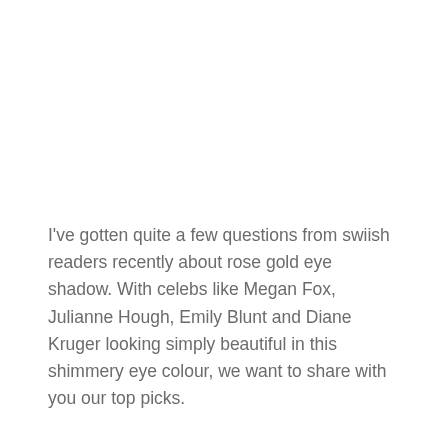I've gotten quite a few questions from swiish readers recently about rose gold eye shadow. With celebs like Megan Fox, Julianne Hough, Emily Blunt and Diane Kruger looking simply beautiful in this shimmery eye colour, we want to share with you our top picks.